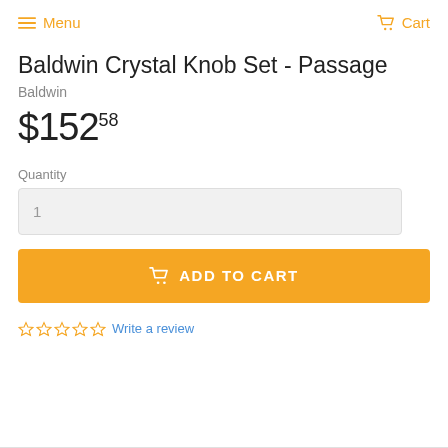Menu   Cart
Baldwin Crystal Knob Set - Passage
Baldwin
$152.58
Quantity
1
ADD TO CART
Write a review